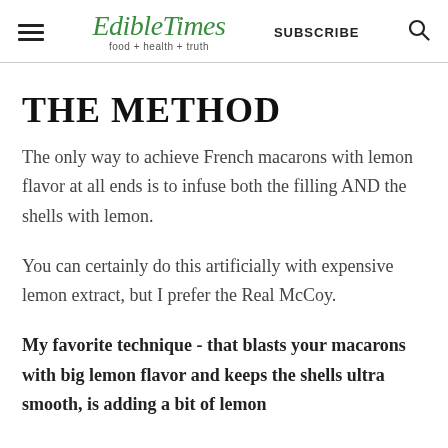EdibleTimes food + health + truth | SUBSCRIBE
THE METHOD
The only way to achieve French macarons with lemon flavor at all ends is to infuse both the filling AND the shells with lemon.
You can certainly do this artificially with expensive lemon extract, but I prefer the Real McCoy.
My favorite technique - that blasts your macarons with big lemon flavor and keeps the shells ultra smooth, is adding a bit of lemon